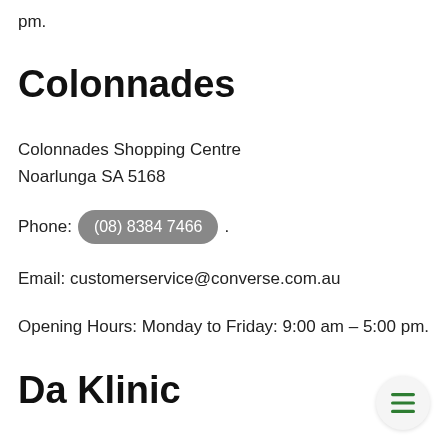pm.
Colonnades
Colonnades Shopping Centre
Noarlunga SA 5168
Phone: (08) 8384 7466.
Email: customerservice@converse.com.au
Opening Hours: Monday to Friday: 9:00 am – 5:00 pm.
Da Klinic